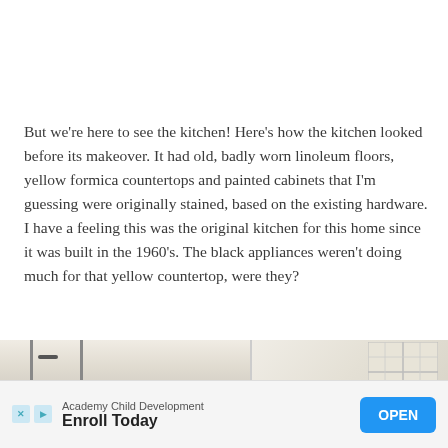But we're here to see the kitchen! Here's how the kitchen looked before its makeover. It had old, badly worn linoleum floors, yellow formica countertops and painted cabinets that I'm guessing were originally stained, based on the existing hardware. I have a feeling this was the original kitchen for this home since it was built in the 1960's. The black appliances weren't doing much for that yellow countertop, were they?
[Figure (photo): Partial view of a kitchen interior showing white cabinets with dark hardware and a black appliance on the left, and a window with grid panes on the right side, suggesting a before-makeover kitchen scene.]
[Figure (screenshot): Advertisement banner for Academy Child Development with 'Enroll Today' headline and a blue 'OPEN' button.]